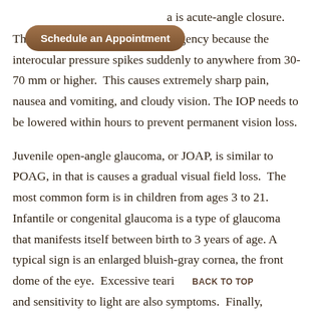[Figure (other): Brown rounded button labeled 'Schedule an Appointment']
a is acute-angle closure. This is considered a medical emergency because the interocular pressure spikes suddenly to anywhere from 30-70 mm or higher. This causes extremely sharp pain, nausea and vomiting, and cloudy vision. The IOP needs to be lowered within hours to prevent permanent vision loss.

Juvenile open-angle glaucoma, or JOAP, is similar to POAG, in that is causes a gradual visual field loss. The most common form is in children from ages 3 to 21. Infantile or congenital glaucoma is a type of glaucoma that manifests itself between birth to 3 years of age. A typical sign is an enlarged bluish-gray cornea, the front dome of the eye. Excessive teari    BACK TO TOP
and sensitivity to light are also symptoms. Finally,